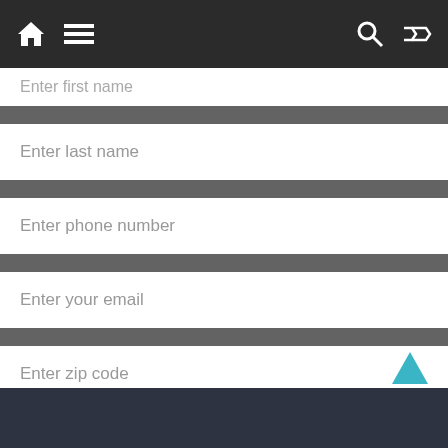Navigation bar with home icon, menu icon, search icon, shuffle icon
Enter first name
Enter last name
Enter phone number
Enter your email
Enter zip code
Subscribe
powered by MailMunch